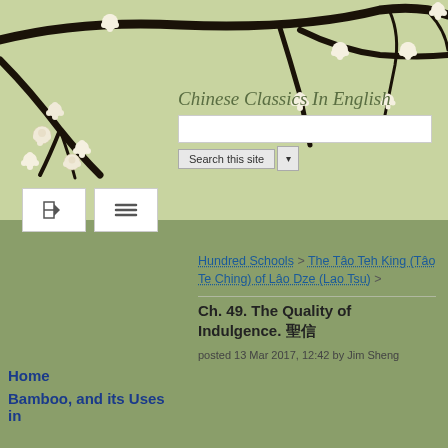[Figure (illustration): Cherry blossom branch illustration on light green background]
Chinese Classics In English
[Figure (screenshot): Search box with 'Search this site' button and dropdown]
[Figure (screenshot): Navigation bar with two icon buttons]
Hundred Schools > The Tâo Teh King (Tâo Te Ching) of Lâo Dze (Lao Tsu) >
Ch. 49. The Quality of Indulgence. 聖信
posted 13 Mar 2017, 12:42 by Jim Sheng
Home
Bamboo, and its Uses in